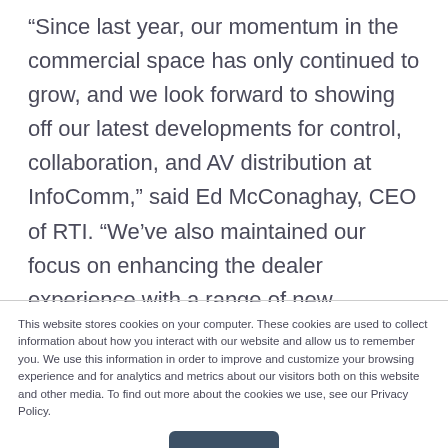“Since last year, our momentum in the commercial space has only continued to grow, and we look forward to showing off our latest developments for control, collaboration, and AV distribution at InfoComm,” said Ed McConaghay, CEO of RTI. “We’ve also maintained our focus on enhancing the dealer experience with a range of new initiatives and programs, while adding manufacturers’ representatives like Bormann Marketing and Online
This website stores cookies on your computer. These cookies are used to collect information about how you interact with our website and allow us to remember you. We use this information in order to improve and customize your browsing experience and for analytics and metrics about our visitors both on this website and other media. To find out more about the cookies we use, see our Privacy Policy.
Accept